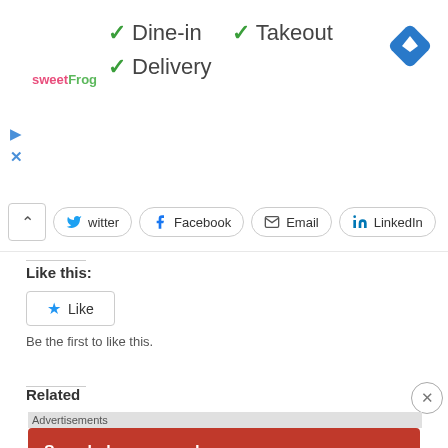[Figure (screenshot): sweetFrog logo in pink and green text]
✓ Dine-in  ✓ Takeout
✓ Delivery
[Figure (other): Blue diamond navigation arrow icon]
▷
✕
^ Twitter  Facebook  Email  LinkedIn
Like this:
★ Like
Be the first to like this.
Related
Advertisements
[Figure (infographic): DuckDuckGo advertisement banner: 'Search, browse, and email with more privacy. All in One Free App' with phone graphic and DuckDuckGo logo]